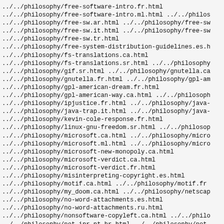../../philosophy/free-software-intro.fr.html
../../philosophy/free-software-intro.ml.html ../../philos
../../philosophy/free-sw.ar.html ../../philosophy/free-sw
../../philosophy/free-sw.it.html ../../philosophy/free-sw
../../philosophy/free-sw.tr.html
../../philosophy/free-system-distribution-guidelines.es.h
../../philosophy/fs-translations.ca.html
../../philosophy/fs-translations.sr.html ../../philosophy
../../philosophy/gif.sr.html ../../philosophy/gnutella.ca
../../philosophy/gnutella.fr.html ../../philosophy/gpl-am
../../philosophy/gpl-american-dream.fr.html
../../philosophy/gpl-american-way.ca.html ../../philosoph
../../philosophy/ipjustice.fr.html ../../philosophy/java-
../../philosophy/java-trap.it.html ../../philosophy/java-
../../philosophy/kevin-cole-response.fr.html
../../philosophy/linux-gnu-freedom.sr.html ../../philosop
../../philosophy/microsoft.ca.html ../../philosophy/micro
../../philosophy/microsoft.ml.html ../../philosophy/micro
../../philosophy/microsoft-new-monopoly.ca.html
../../philosophy/microsoft-verdict.ca.html
../../philosophy/microsoft-verdict.fr.html
../../philosophy/misinterpreting-copyright.es.html
../../philosophy/motif.ca.html ../../philosophy/motif.fr
../../philosophy/my_doom.ca.html ../../philosophy/netscap
../../philosophy/no-word-attachments.es.html
../../philosophy/no-word-attachments.ru.html
../../philosophy/nonsoftware-copyleft.ca.html ../../philo
../../philosophy/not-ipr.pt-br.html ../../philosophy/not-
../../philosophy/open-source-misses-the-point.bg.html
../../philosophy/open-source-misses-the-point.es.html